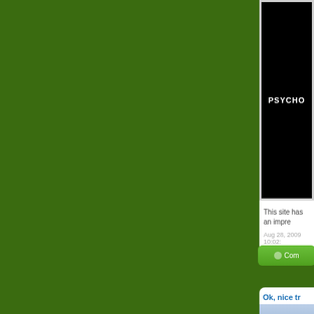[Figure (screenshot): Green website background with partial right-side content panel showing a dark movie/media thumbnail with 'PSYCHO' text, a text snippet starting with 'This site has an impre...', a date 'Aug 28, 2009 10:02:', a green comment button labeled 'Com...', and a second card below with title 'Ok, nice tr...' and a blue-gray image area.]